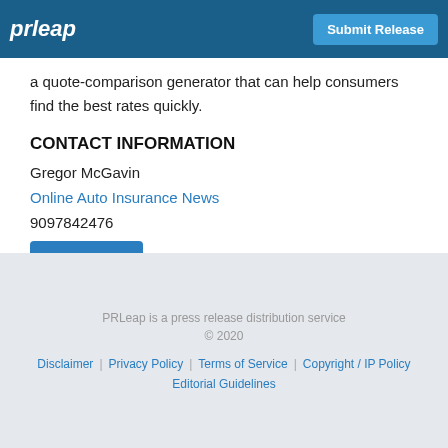prleap | Submit Release
a quote-comparison generator that can help consumers find the best rates quickly.
CONTACT INFORMATION
Gregor McGavin
Online Auto Insurance News
9097842476
Contact Us
PRLeap is a press release distribution service © 2020 Disclaimer | Privacy Policy | Terms of Service | Copyright / IP Policy | Editorial Guidelines